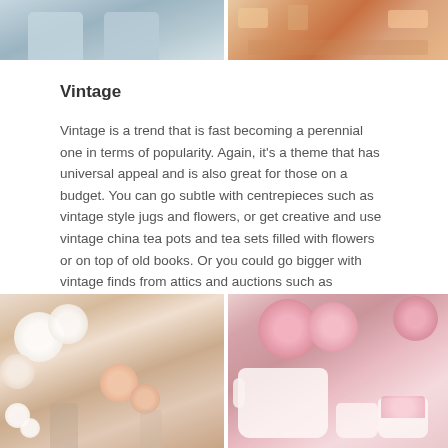[Figure (photo): Two photos at the top of the page showing vintage/event decor — left photo shows chairs and room interior with blue-grey tones, right photo shows a colourful decorated table setting with warm orange-pink tones]
Vintage
Vintage is a trend that is fast becoming a perennial one in terms of popularity. Again, it's a theme that has universal appeal and is also great for those on a budget. You can go subtle with centrepieces such as vintage style jugs and flowers, or get creative and use vintage china tea pots and tea sets filled with flowers or on top of old books. Or you could go bigger with vintage finds from attics and auctions such as gramophones, typewriters, weighing scales and birdcages. The list is endless.
[Figure (photo): Two photos at the bottom showing vintage floral table decorations — left photo shows white and peach flowers in jars/vases on a wooden table, right photo shows pink peonies/roses in a vintage white china teapot and tea cups]